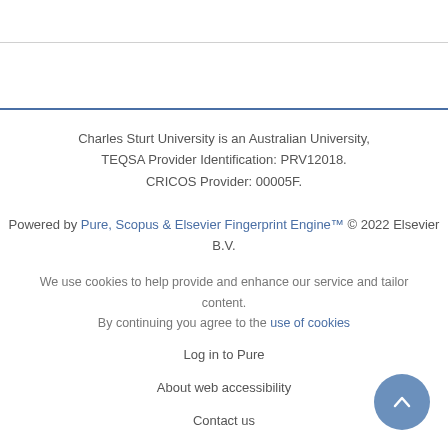Charles Sturt University is an Australian University, TEQSA Provider Identification: PRV12018. CRICOS Provider: 00005F.
Powered by Pure, Scopus & Elsevier Fingerprint Engine™ © 2022 Elsevier B.V.
We use cookies to help provide and enhance our service and tailor content. By continuing you agree to the use of cookies
Log in to Pure
About web accessibility
Contact us